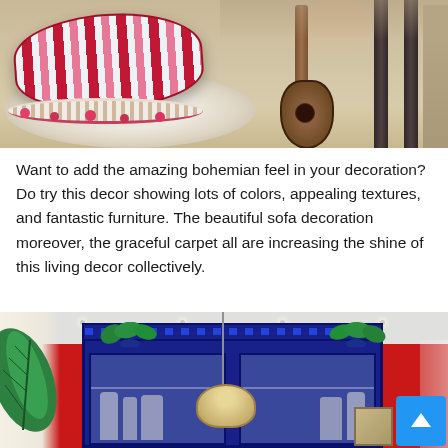[Figure (photo): Bohemian living room decor with a colorful red and white striped cushion/pouf on a round crocheted rug, with a guitar and dark wooden furniture legs visible in the background on light wood flooring.]
Want to add the amazing bohemian feel in your decoration? Do try this decor showing lots of colors, appealing textures, and fantastic furniture. The beautiful sofa decoration moreover, the graceful carpet all are increasing the shine of this living decor collectively.
[Figure (photo): Bohemian-style living room with a large blue display cabinet against a red wall, tropical green plants, white curtains, a hanging wicker lamp shade, and a scroll-to-top button overlay in the bottom right corner.]